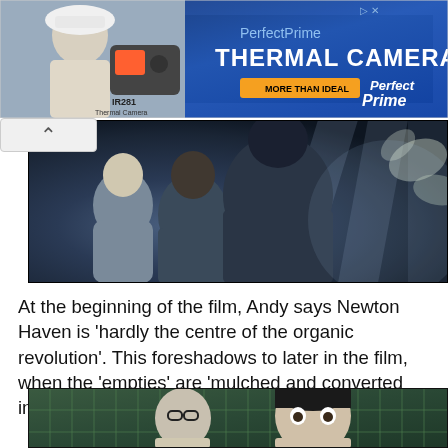[Figure (photo): Advertisement banner for PerfectPrime Thermal Cameras (IR281 model) showing a person holding a thermal camera, with blue background and orange 'MORE THAN IDEAL' button]
[Figure (photo): Dark movie still showing silhouettes of crowd figures with dramatic lighting beams from above, misty atmospheric scene]
At the beginning of the film, Andy says Newton Haven is 'hardly the centre of the organic revolution'. This foreshadows to later in the film, when the 'empties' are 'mulched and converted into fertiliser to promote verdancy and growth'
[Figure (photo): Movie still showing two characters in front of a green tiled wall, one with glasses on the left and one with dark wet hair on the right]